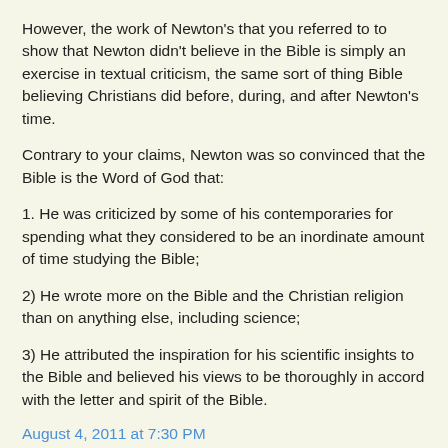However, the work of Newton's that you referred to to show that Newton didn't believe in the Bible is simply an exercise in textual criticism, the same sort of thing Bible believing Christians did before, during, and after Newton's time.
Contrary to your claims, Newton was so convinced that the Bible is the Word of God that:
1. He was criticized by some of his contemporaries for spending what they considered to be an inordinate amount of time studying the Bible;
2) He wrote more on the Bible and the Christian religion than on anything else, including science;
3) He attributed the inspiration for his scientific insights to the Bible and believed his views to be thoroughly in accord with the letter and spirit of the Bible.
August 4, 2011 at 7:30 PM